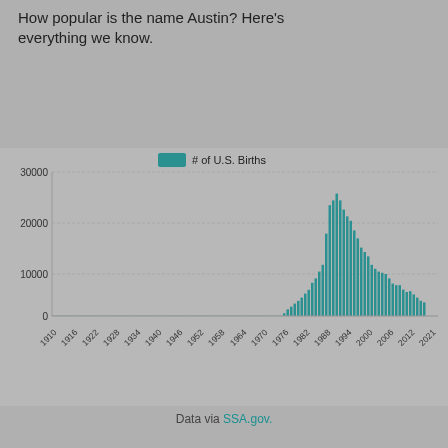How popular is the name Austin? Here's everything we know.
[Figure (bar-chart): # of U.S. Births]
Data via SSA.gov.